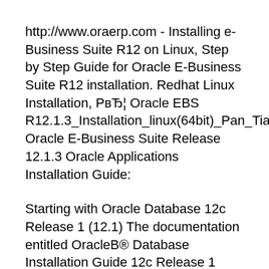http://www.oraerp.com - Installing e-Business Suite R12 on Linux, Step by Step Guide for Oracle E-Business Suite R12 installation. Redhat Linux Installation, РвЂ¦ Oracle EBS R12.1.3_Installation_linux(64bit)_Pan_Tian Oracle E-Business Suite Release 12.1.3 Oracle Applications Installation Guide:
Starting with Oracle Database 12c Release 1 (12.1) The documentation entitled OracleB® Database Installation Guide 12c Release 1 (12.1) for ix Preface Intended Audience Welcome to Release 12.1 (12.1.1) of the Oracle E-Business Suite Installation Guide: Using